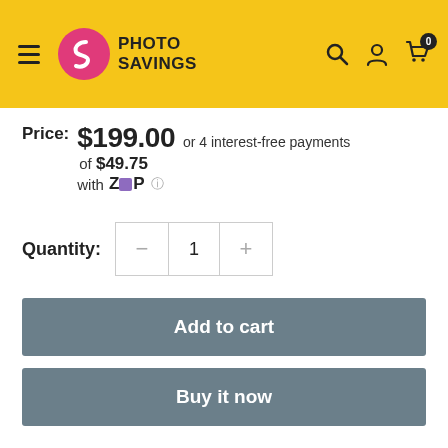[Figure (screenshot): Photo Savings website header with yellow background, hamburger menu, Photo Savings logo, and icons for search, account, and cart showing 0 items]
Price: $199.00 or 4 interest-free payments of $49.75 with Zip
Quantity: 1
Add to cart
Buy it now
Share this product